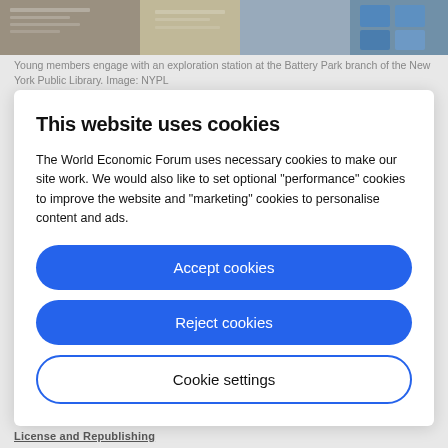[Figure (photo): Background photo strip at the top of the page showing newspapers and blue-themed imagery, partially visible]
Young members engage with an exploration station at the Battery Park branch of the New York Public Library. Image: NYPL
This website uses cookies
The World Economic Forum uses necessary cookies to make our site work. We would also like to set optional “performance” cookies to improve the website and “marketing” cookies to personalise content and ads.
Accept cookies
Reject cookies
Cookie settings
License and Republishing